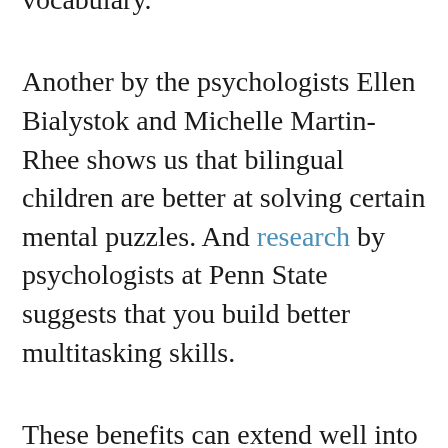particularly in maths, reading and vocabulary.
Another by the psychologists Ellen Bialystok and Michelle Martin-Rhee shows us that bilingual children are better at solving certain mental puzzles. And research by psychologists at Penn State suggests that you build better multitasking skills.
These benefits can extend well into your later years. Neuropsychologists from the University of California, San Diego have discovered bilingual people are more resistant than others to the onset of dementia. This resistance is also related to the degree of bilingualism. Those with a better understanding of their second language are more likely to stave off the effects of the disease, so, we should all start learning today.